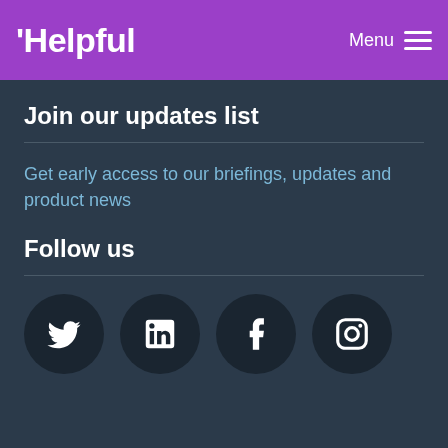Helpful  Menu
Join our updates list
Get early access to our briefings, updates and product news
Follow us
[Figure (other): Row of four social media icons (Twitter, LinkedIn, Facebook, Instagram) as white icons on dark circular backgrounds]